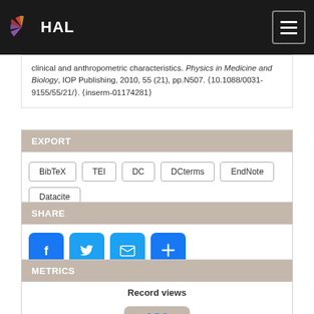HAL
clinical and anthropometric characteristics. Physics in Medicine and Biology, IOP Publishing, 2010, 55 (21), pp.N507. (10.1088/0031-9155/55/21/). (inserm-01174281)
EXPORT
BibTeX
TEI
DC
DCterms
EndNote
Datacite
SHARE
[Figure (illustration): Social share buttons: Facebook, Twitter, Email, and More (+)]
METRICS
Record views
186